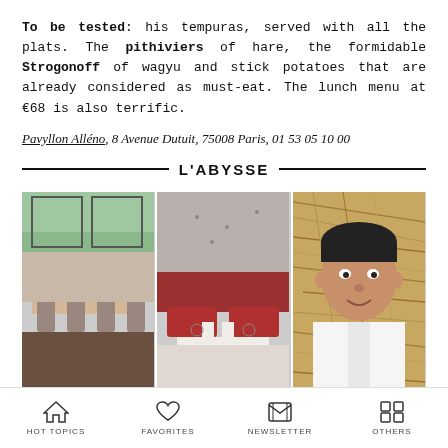To be tested: his tempuras, served with all the plats. The pithiviers of hare, the formidable Strogonoff of wagyu and stick potatoes that are already considered as must-eat. The lunch menu at €68 is also terrific.
Pavyllon Alléno, 8 Avenue Dutuit, 75008 Paris, 01 53 05 10 00
L'ABYSSE
[Figure (photo): Three side-by-side photos: restaurant dining room interior with chairs and tables, restaurant seating with red cushions and set table, portrait of chef in white uniform]
HOT TOPICS   FAVORITES   NEWSLETTER   OTHERS